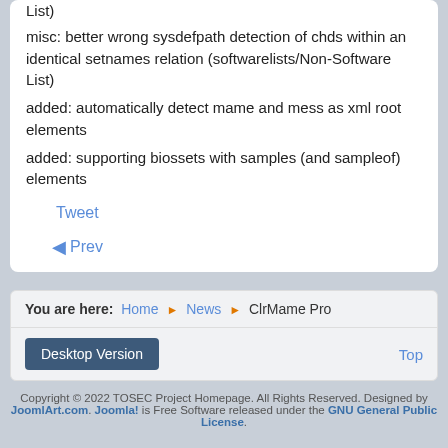List)
misc: better wrong sysdefpath detection of chds within an identical setnames relation (softwarelists/Non-Software List)
added: automatically detect mame and mess as xml root elements
added: supporting biossets with samples (and sampleof) elements
Tweet
◀ Prev
You are here: Home ▶ News ▶ ClrMame Pro
Desktop Version
Top
Copyright © 2022 TOSEC Project Homepage. All Rights Reserved. Designed by JoomlArt.com. Joomla! is Free Software released under the GNU General Public License.